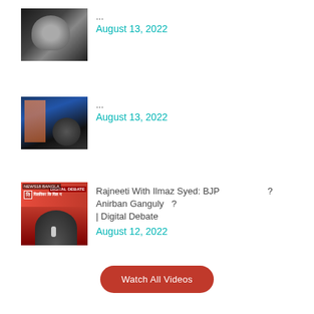[Figure (photo): Thumbnail image of two people, dark background]
...
August 13, 2022
[Figure (photo): Thumbnail image with blue and dark tones, flag visible]
...
August 13, 2022
[Figure (photo): Thumbnail with red background, news debate show, person with microphone]
Rajneeti With Ilmaz Syed: BJP ? Anirban Ganguly ? | Digital Debate
August 12, 2022
Watch All Videos